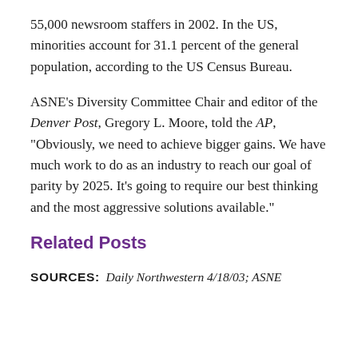55,000 newsroom staffers in 2002. In the US, minorities account for 31.1 percent of the general population, according to the US Census Bureau.
ASNE's Diversity Committee Chair and editor of the Denver Post, Gregory L. Moore, told the AP, "Obviously, we need to achieve bigger gains. We have much work to do as an industry to reach our goal of parity by 2025. It's going to require our best thinking and the most aggressive solutions available."
Related Posts
SOURCES: Daily Northwestern 4/18/03; ASNE 4/8/03; Associated Press 4/8/03; Fernanda Diaz...